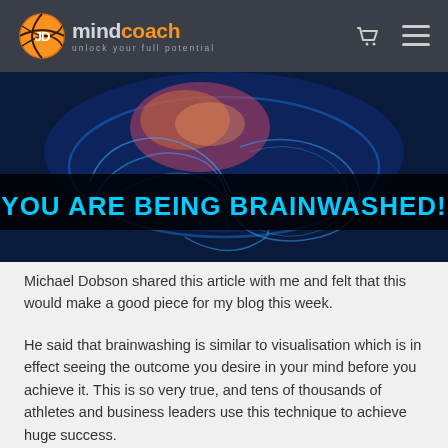JD mindcoach — unlock your full potential
[Figure (illustration): A glowing digital brain image with pink/orange highlights on top and blue neon outline on dark background, with bold cyan text overlay reading 'YOU ARE BEING BRAINWASHED!']
Michael Dobson shared this article with me and felt that this would make a good piece for my blog this week.
He said that brainwashing is similar to visualisation which is in effect seeing the outcome you desire in your mind before you achieve it. This is so very true, and tens of thousands of athletes and business leaders use this technique to achieve huge success.